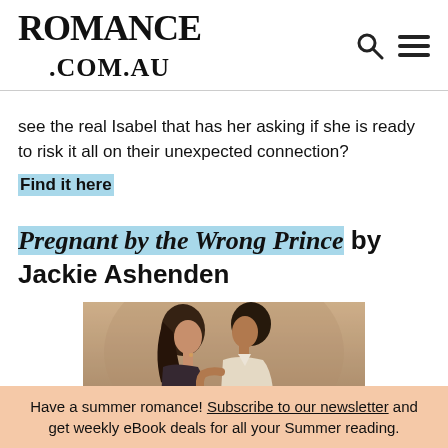ROMANCE .COM.AU
see the real Isabel that has her asking if she is ready to risk it all on their unexpected connection?
Find it here
Pregnant by the Wrong Prince by Jackie Ashenden
[Figure (photo): A couple — a woman with dark hair and a man in a white shirt — in a close romantic pose]
Have a summer romance! Subscribe to our newsletter and get weekly eBook deals for all your Summer reading.